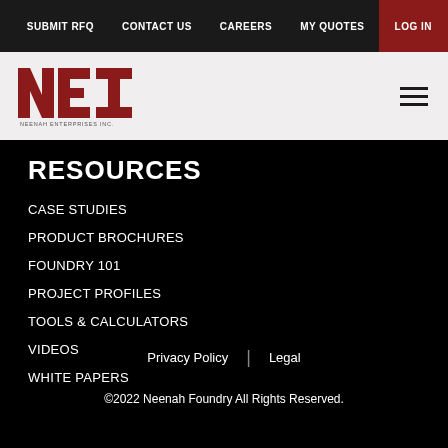SUBMIT RFQ | CONTACT US | CAREERS | MY QUOTES | LOG IN
[Figure (logo): NEI - Neenah Enterprises Inc. logo with bold red block letters]
RESOURCES
CASE STUDIES
PRODUCT BROCHURES
FOUNDRY 101
PROJECT PROFILES
TOOLS & CALCULATORS
VIDEOS
WHITE PAPERS
Privacy Policy | Legal
©2022 Neenah Foundry All Rights Reserved.